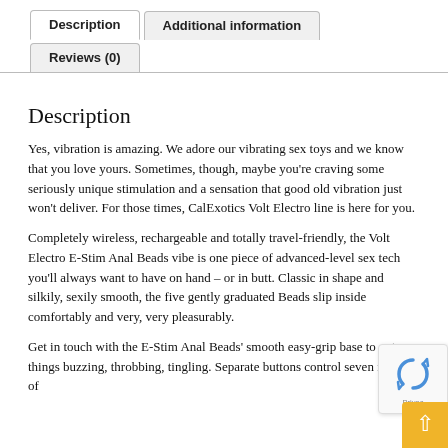Description
Additional information
Reviews (0)
Description
Yes, vibration is amazing. We adore our vibrating sex toys and we know that you love yours. Sometimes, though, maybe you're craving some seriously unique stimulation and a sensation that good old vibration just won't deliver. For those times, CalExotics Volt Electro line is here for you.
Completely wireless, rechargeable and totally travel-friendly, the Volt Electro E-Stim Anal Beads vibe is one piece of advanced-level sex tech you'll always want to have on hand – or in butt. Classic in shape and silkily, sexily smooth, the five gently graduated Beads slip inside comfortably and very, very pleasurably.
Get in touch with the E-Stim Anal Beads' smooth easy-grip base to get things buzzing, throbbing, tingling. Separate buttons control seven rhythms of